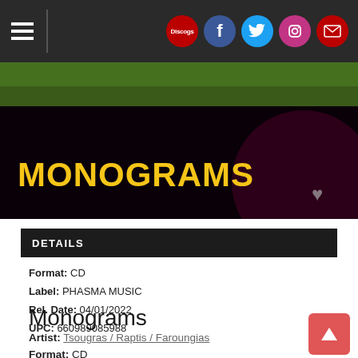[Figure (screenshot): Website navigation bar with hamburger menu on left and social media icons (Discogs, Facebook, Twitter, Instagram, Email) on right, dark background]
[Figure (photo): Banner image with dark background and green texture at top, large bold yellow text reading MONOGRAMS, small heart icon on bottom right]
DETAILS
Format: CD
Label: PHASMA MUSIC
Rel. Date: 04/01/2022
UPC: 660989085988
[Figure (screenshot): Tweet button and Facebook Share 0 button]
Monograms
Artist: Tsougras / Raptis / Faroungias
Format: CD